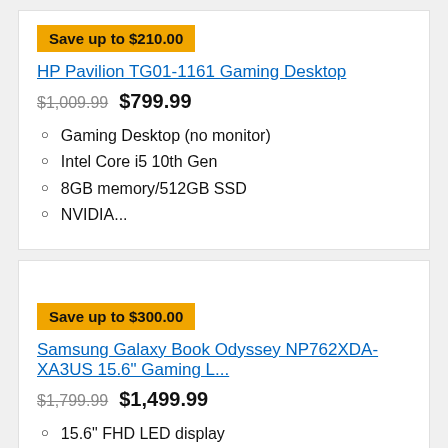Save up to $210.00
HP Pavilion TG01-1161 Gaming Desktop
$1,009.99 $799.99
Gaming Desktop (no monitor)
Intel Core i5 10th Gen
8GB memory/512GB SSD
NVIDIA...
Save up to $300.00
Samsung Galaxy Book Odyssey NP762XDA-XA3US 15.6" Gaming L...
$1,799.99 $1,499.99
15.6" FHD LED display